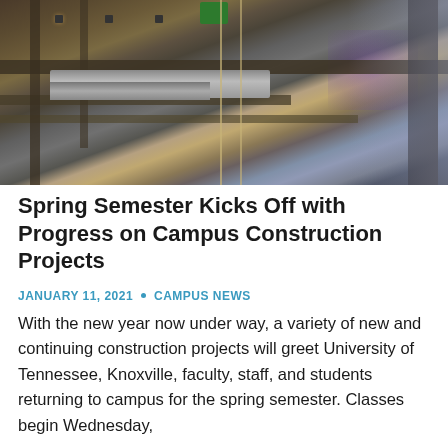[Figure (photo): Interior construction photo showing ceiling beams, ductwork, cables, scaffolding, and purple-lit structural elements of a building under construction.]
Spring Semester Kicks Off with Progress on Campus Construction Projects
JANUARY 11, 2021  •  CAMPUS NEWS
With the new year now under way, a variety of new and continuing construction projects will greet University of Tennessee, Knoxville, faculty, staff, and students returning to campus for the spring semester. Classes begin Wednesday,